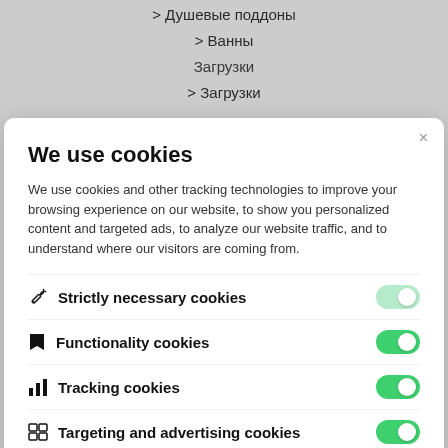> Душевые поддоны
> Ванны
Загрузки
> Загрузки
We use cookies
We use cookies and other tracking technologies to improve your browsing experience on our website, to show you personalized content and targeted ads, to analyze our website traffic, and to understand where our visitors are coming from.
Strictly necessary cookies
Functionality cookies
Tracking cookies
Targeting and advertising cookies
Privacy Policy
Accept selected cookies
> Компании входящие в группу